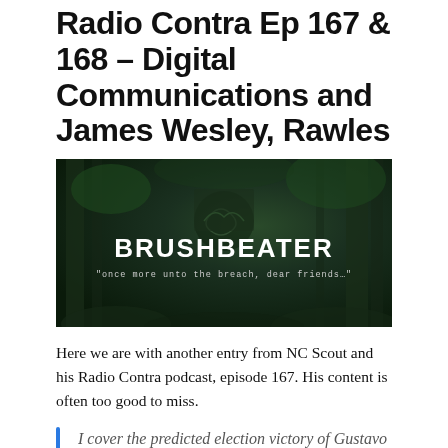Radio Contra Ep 167 & 168 – Digital Communications and James Wesley, Rawles
[Figure (photo): Brushbeater website banner image with dark forest background. Large white stencil text reads 'BRUSHBEATER' with subtitle 'once more unto the breach, dear friends…' and a coiled snake emblem visible.]
Here we are with another entry from NC Scout and his Radio Contra podcast, episode 167. His content is often too good to miss.
I cover the predicted election victory of Gustavo Petro in Colombia and the